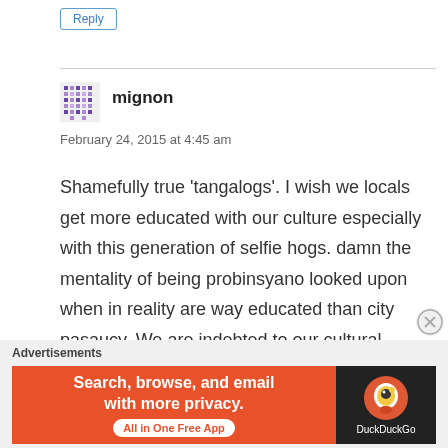Reply
mignon
February 24, 2015 at 4:45 am
Shamefully true ‘tangalogs’. I wish we locals get more educated with our culture especially with this generation of selfie hogs. damn the mentality of being probinsyano looked upon when in reality are way educated than city pasaucy. We are indebted to our cultural heritage so let’s learn to respect it and not be caught being the
Advertisements
[Figure (screenshot): DuckDuckGo advertisement banner: orange background with text 'Search, browse, and email with more privacy. All in One Free App' and DuckDuckGo logo on dark background on the right.]